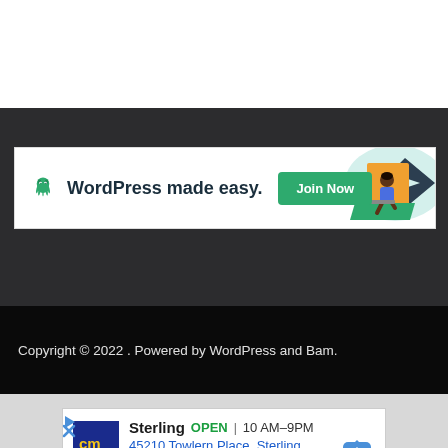[Figure (infographic): WordPress advertisement banner: octopus logo, 'WordPress made easy.' text, 'Join Now' green button, illustration of person with laptop on geometric shapes]
Copyright © 2022 . Powered by WordPress and Bam.
[Figure (infographic): Google Maps ad card: CM (Cost Matrix?) store logo in blue/yellow, 'Sterling OPEN 10 AM–9PM' with address '45210 Towlern Place, Sterling', navigation arrow icon, play and close icons]